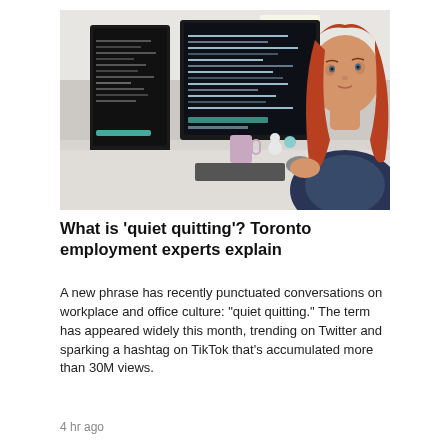[Figure (photo): A young woman with long red hair sitting at a desk with multiple computer monitors displaying code, in an office environment.]
What is 'quiet quitting'? Toronto employment experts explain
A new phrase has recently punctuated conversations on workplace and office culture: "quiet quitting." The term has appeared widely this month, trending on Twitter and sparking a hashtag on TikTok that's accumulated more than 30M views.
4 hr ago